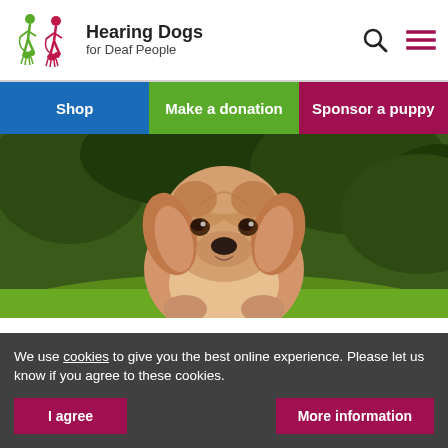Hearing Dogs for Deaf People
[Figure (logo): Hearing Dogs for Deaf People logo with green and red dog/person silhouettes and text]
Shop | Make a donation | Sponsor a puppy
[Figure (photo): A golden/cream coloured puppy (cockapoo or similar breed) sitting on green grass, looking at camera]
We use cookies to give you the best online experience. Please let us know if you agree to these cookies.
I agree
More information
s wanted!
We are looking for volunteers to help us care for and rain